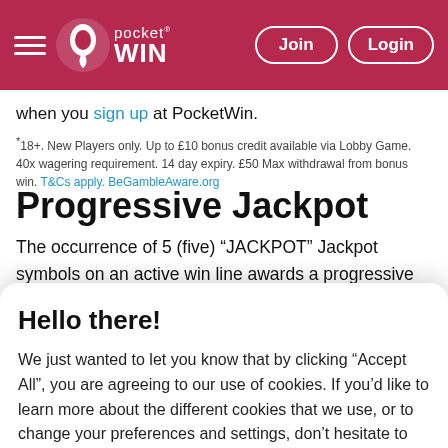PocketWin — Join | Login
when you sign up at PocketWin.
* 18+. New Players only. Up to £10 bonus credit available via Lobby Game. 40x wagering requirement. 14 day expiry. £50 Max withdrawal from bonus win. T&Cs apply. BeGambleAware.org
Progressive Jackpot
The occurrence of 5 (five) “JACKPOT” Jackpot symbols on an active win line awards a progressive Jackpot. The progressive Jackpot is available on any bet, with 0.005% of the bet being
Hello there!
We just wanted to let you know that by clicking “Accept All”, you are agreeing to our use of cookies. If you’d like to learn more about the different cookies that we use, or to change your preferences and settings, don’t hesitate to refer to cookie policy.